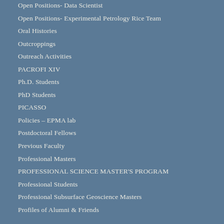Open Positions- Data Scientist
Open Positions- Experimental Petrology Rice Team
Oral Histories
Outcroppings
Outreach Activities
PACROFI XIV
Ph.D. Students
PhD Students
PICASSO
Policies – EPMA lab
Postdoctoral Fellows
Previous Faculty
Professional Masters
PROFESSIONAL SCIENCE MASTER'S PROGRAM
Professional Students
Professional Subsurface Geoscience Masters
Profiles of Alumni & Friends